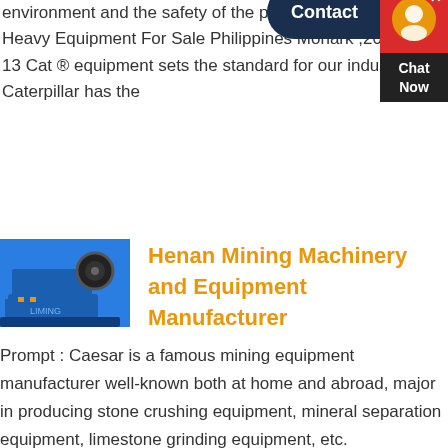environment and the safety of the people benefiting Check Heavy Equipment For Sale Philippines Monark ,2021-12-13 Cat ® equipment sets the standard for our industry, as Caterpillar has the
[Figure (photo): Blue mining/crushing machine equipment photo]
Henan Mining Machinery and Equipment Manufacturer
[Figure (infographic): Contact chat widget with dark navy Contact button and red/black Chat Now box]
Prompt : Caesar is a famous mining equipment manufacturer well-known both at home and abroad, major in producing stone crushing equipment, mineral separation equipment, limestone grinding equipment, etc.